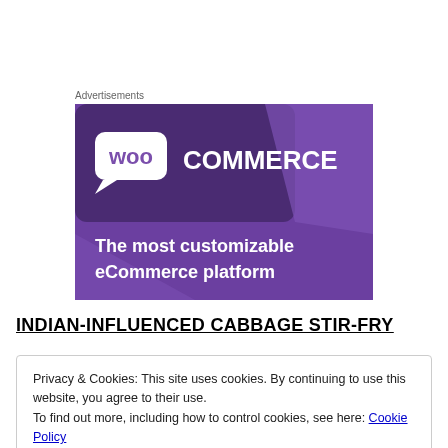Advertisements
[Figure (illustration): WooCommerce advertisement banner with purple background showing the WooCommerce logo and text 'The most customizable eCommerce platform']
INDIAN-INFLUENCED CABBAGE STIR-FRY
Privacy & Cookies: This site uses cookies. By continuing to use this website, you agree to their use.
To find out more, including how to control cookies, see here: Cookie Policy
Close and accept